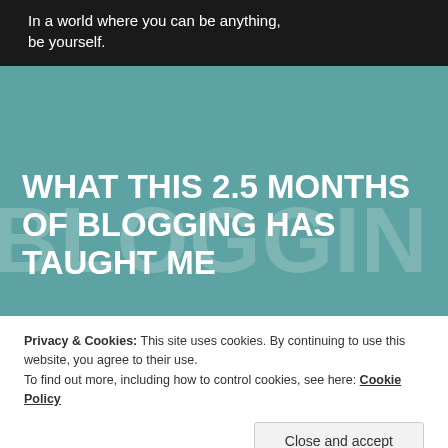In a world where you can be anything, be yourself.
WHAT THIS 2.5 MONTHS OF BLOGGING HAS TAUGHT ME
[Figure (other): Large watermark text reading BLOGGIN in light transparent letters on teal background]
Privacy & Cookies: This site uses cookies. By continuing to use this website, you agree to their use.
To find out more, including how to control cookies, see here: Cookie Policy
Close and accept